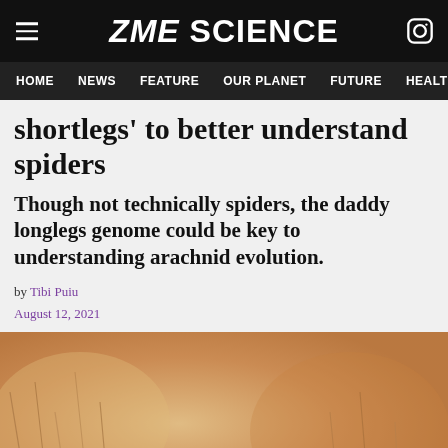ZME SCIENCE
HOME   NEWS   FEATURE   OUR PLANET   FUTURE   HEALT
shortlegs' to better understand spiders
Though not technically spiders, the daddy longlegs genome could be key to understanding arachnid evolution.
by Tibi Puiu
August 12, 2021
[Figure (photo): Close-up photo of a daddy longlegs (harvestman) arachnid against a warm sandy/tan background with blurred grass-like elements]